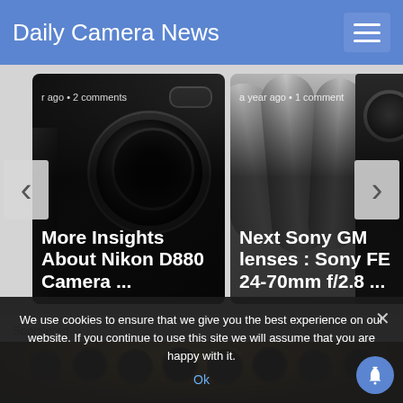Daily Camera News
[Figure (screenshot): Article card showing Nikon D880 Camera body in dark background with text: 'r ago • 2 comments' and title 'More Insights About Nikon D880 Camera ...']
[Figure (screenshot): Article card showing camera lenses/telephoto lenses on grey background with text: 'a year ago • 1 comment' and title 'Next Sony GM lenses : Sony FE 24-70mm f/2.8 ...']
Sponsored
[Figure (photo): Sponsored content image showing a film reel or food item with circular holes in brown/golden tones]
We use cookies to ensure that we give you the best experience on our website. If you continue to use this site we will assume that you are happy with it.
Ok